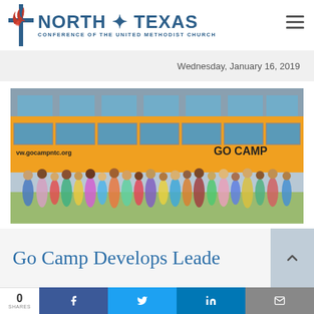North Texas Conference of the United Methodist Church
Wednesday, January 16, 2019
[Figure (photo): Group of children and counselors standing in front of a yellow school bus with 'www.gocampntc.org' and 'GO CAMP' text visible on the bus]
Go Camp Develops Leade
0 SHARES